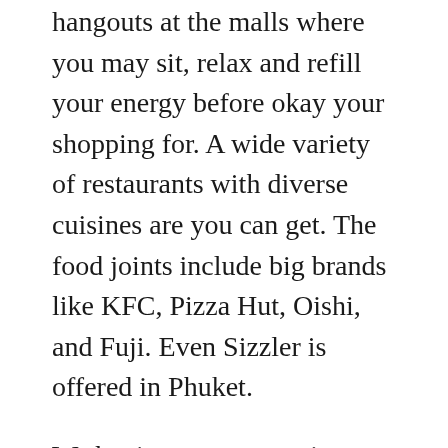hangouts at the malls where you may sit, relax and refill your energy before okay your shopping for. A wide variety of restaurants with diverse cuisines are you can get. The food joints include big brands like KFC, Pizza Hut, Oishi, and Fuji. Even Sizzler is offered in Phuket.
We begin to see a genuine information roads. [Thai text] could advertise it presence throughout planet with minimal effort. The world wide web browser now could relate with a company's data starting. Of course, it was just a heart beat away until individuals who have could actually sell gifts. The impact of this was absolutely profound. Shopping was changing course. That now being called internet online Shopping mall for clothes. Family online shopping was born.